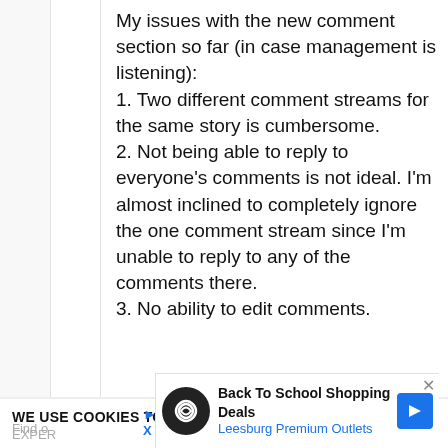My issues with the new comment section so far (in case management is listening):
1. Two different comment streams for the same story is cumbersome.
2. Not being able to reply to everyone's comments is not ideal. I'm almost inclined to completely ignore the one comment stream since I'm unable to reply to any of the comments there.
3. No ability to edit comments.
5 years ago  ♥ 0
5504
WE USE COOKIES TO IMPROVE YOUR BROWSING EXPER...
[Figure (screenshot): Advertisement: Back To School Shopping Deals at Leesburg Premium Outlets with logo and blue arrow icon]